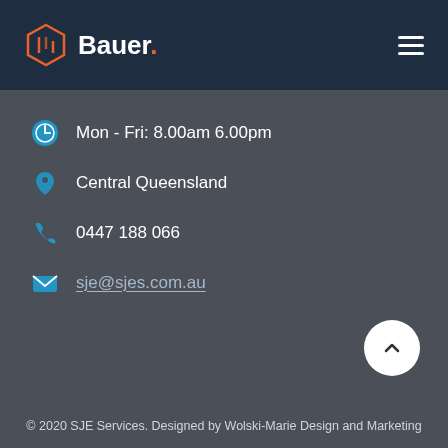Bauer.
Mon - Fri: 8.00am 6.00pm
Central Queensland
0447 188 066
sje@sjes.com.au
© 2020 SJE Services. Designed by Wolski-Marie Design and Marketing